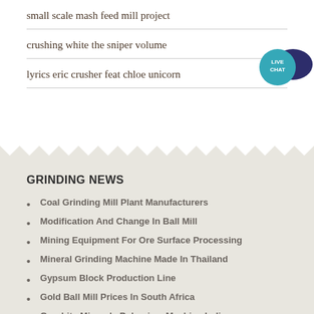small scale mash feed mill project
crushing white the sniper volume
lyrics eric crusher feat chloe unicorn
[Figure (illustration): Live chat speech bubble icon — teal circle with 'LIVE CHAT' text and dark blue speech bubble behind it]
GRINDING NEWS
Coal Grinding Mill Plant Manufacturers
Modification And Change In Ball Mill
Mining Equipment For Ore Surface Processing
Mineral Grinding Machine Made In Thailand
Gypsum Block Production Line
Gold Ball Mill Prices In South Africa
Graphite Minerals Pulverizer Machine India